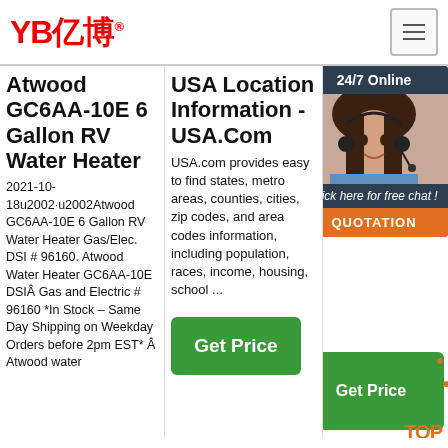[Figure (logo): YB亿博 logo in red with registered trademark symbol and hamburger menu button]
Atwood GC6AA-10E 6 Gallon RV Water Heater
2021-10-18u2002·u2002Atwood GC6AA-10E 6 Gallon RV Water Heater Gas/Elec. DSI # 96160. Atwood Water Heater GC6AA-10E DSIÂ Gas and Electric # 96160 *In Stock – Same Day Shipping on Weekday Orders before 2pm EST* Â Atwood water
USA Location Information - USA.Com
USA.com provides easy to find states, metro areas, counties, cities, zip codes, and area codes information, including population, races, income, housing, school ...
[Figure (other): Green Get Price button]
Policies - Bio Ce
Our poli both deta rese han mo the poli
[Figure (other): 24/7 Online chat widget with woman in headset photo and QUOTATION button]
[Figure (other): Green Get Price button with TOP label and orange dots]